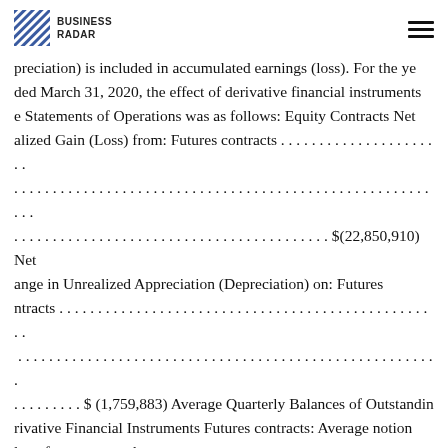BUSINESS RADAR
preciation) is included in accumulated earnings (loss). For the year ended March 31, 2020, the effect of derivative financial instruments e Statements of Operations was as follows: Equity Contracts Net alized Gain (Loss) from: Futures contracts . . . . . . . . . . . . . . . . . . . . . . . . . . . . . . . . . . . . . . . . . . . . . . . . . . . . . . . . . . . . . . . . . . . . . . . . . . . . $(22,850,910) Net ange in Unrealized Appreciation (Depreciation) on: Futures ntracts . . . . . . . . . . . . . . . . . . . . . . . . . . . . . . . . . . . . . . . . . . . . . . . . . . . . . . . . . . . . . . . . . . . . . . . . . . . . . . . . . . . . . . . . . . . . . $ (1,759,883) Average Quarterly Balances of Outstanding Derivative Financial Instruments Futures contracts: Average notional value of contracts — long . . . . . . . . . . . . . . . . . . . . . . . . . . . . . . . . . . . . . . . . . . . . . . . . . . . . . . . . . . . . . . . . . . . . . . . . . . . . . . . . . 8,174,669 For more information about the Fund's investment risk regarding derivative financial instruments, refer to the Notes to Financial Statements. Fair Value Measurements Various inputs are